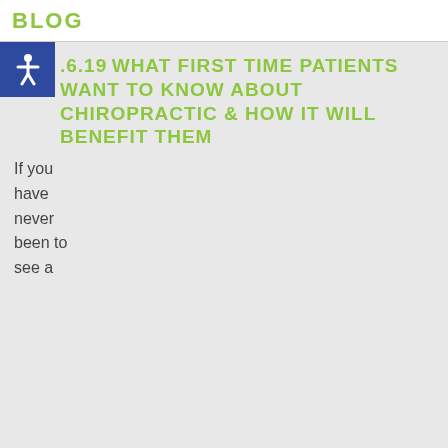BLOG
.6.19 WHAT FIRST TIME PATIENTS WANT TO KNOW ABOUT CHIROPRACTIC & HOW IT WILL BENEFIT THEM
If you have never been to see a